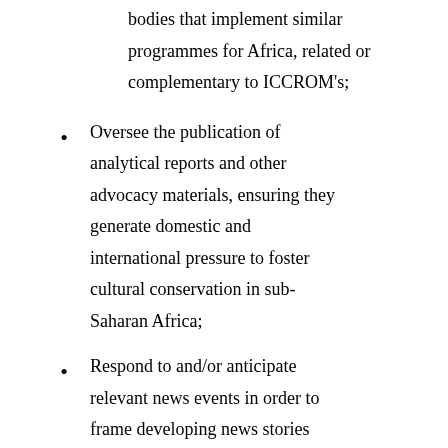bodies that implement similar programmes for Africa, related or complementary to ICCROM's;
Oversee the publication of analytical reports and other advocacy materials, ensuring they generate domestic and international pressure to foster cultural conservation in sub-Saharan Africa;
Respond to and/or anticipate relevant news events in order to frame developing news stories through an Africa-relevant cultural conservation prism, advise senior